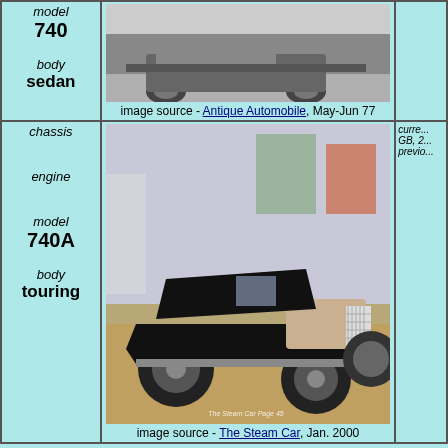| details | image | info |
| --- | --- | --- |
| model
740
body
sedan | image source - Antique Automobile, May-Jun 77 |  |
| chassis
engine
model
740A
body
touring | image source - The Steam Car, Jan. 2000 | curre... GB, 2... previo... |
[Figure (photo): Black and white photo of a Stanley Steamer sedan, model 740]
image source - Antique Automobile, May-Jun 77
[Figure (photo): Color photo of a black Stanley Steamer touring car, model 740A, displayed in a museum]
image source - The Steam Car, Jan. 2000
1923  1925  Home
Stanley Steamer steam car